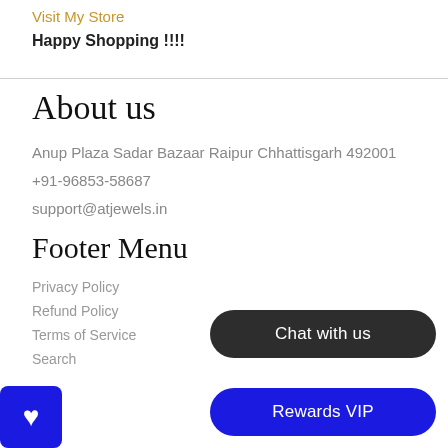Visit My Store
Happy Shopping !!!!
About us
Anup Plaza Sadar Bazaar Raipur Chhattisgarh 492001
+91-96853-58687
support@atjewels.in
Footer Menu
Privacy Policy
Refund Policy
Terms of Service
Search
Chat with us
Rewards VIP